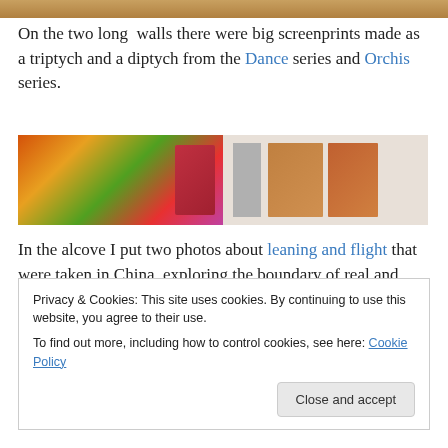[Figure (photo): Top cropped image strip showing a warm-toned artwork or scene]
On the two long  walls there were big screenprints made as a triptych and a diptych from the Dance series and Orchis series.
[Figure (photo): Gallery interior showing two views of a white-walled room with large colorful screenprints hung on the walls and wooden floors]
In the alcove I put two photos about leaning and flight that were taken in China, exploring the boundary of real and unreal. In the window there were three artist books from
Privacy & Cookies: This site uses cookies. By continuing to use this website, you agree to their use.
To find out more, including how to control cookies, see here: Cookie Policy
Close and accept